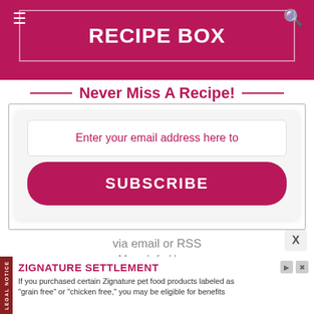Recipe Box
Never Miss A Recipe!
Enter your email address here to
SUBSCRIBE
via email or RSS
<< More Info Here >>.
ZIGNATURE SETTLEMENT
If you purchased certain Zignature pet food products labeled as "grain free" or "chicken free," you may be eligible for benefits